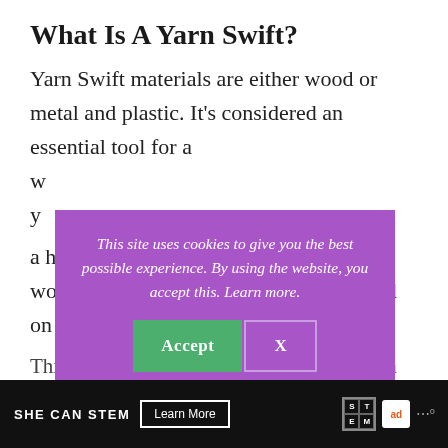What Is A Yarn Swift?
Yarn Swift materials are either wood or metal and plastic. It’s considered an essential tool for a hank of yarn. A hank is yarn loosely wound into a large ring shape and twisted on itself.
This site uses cookies to give you the best possible experience. By using the website, you accept this. Learn more.
This tool helps make the unwinding of yarn in a...
SHE CAN STEM   Learn More